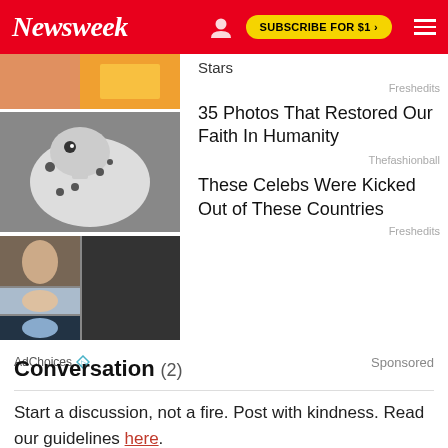Newsweek
[Figure (screenshot): Advertisement images: top partial image with colorful background, center image of a Dalmatian dog, bottom collage of celebrity photos]
Stars
Freshedits
35 Photos That Restored Our Faith In Humanity
Thefashionball
These Celebs Were Kicked Out of These Countries
Freshedits
AdChoices  Sponsored
Conversation (2)
Start a discussion, not a fire. Post with kindness. Read our guidelines here.